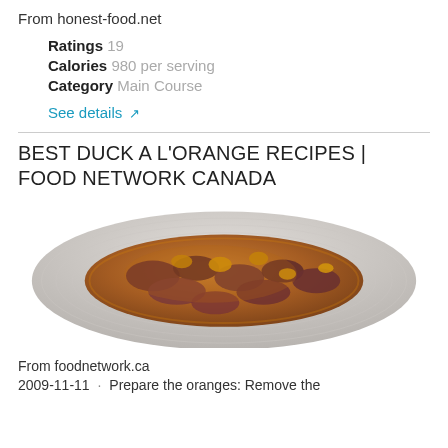From honest-food.net
Ratings 19
Calories 980 per serving
Category Main Course
See details ↗
BEST DUCK A L'ORANGE RECIPES | FOOD NETWORK CANADA
[Figure (photo): Duck a l'orange dish: sliced duck meat topped with an orange caramel sauce served on a white plate]
From foodnetwork.ca
2009-11-11 · Prepare the oranges: Remove the